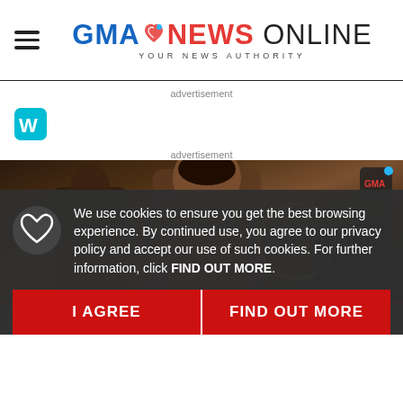GMA NEWS ONLINE - YOUR NEWS AUTHORITY
[Figure (logo): GMA News Online logo with heart icon and tagline 'YOUR NEWS AUTHORITY']
advertisement
[Figure (logo): Weatherbug app icon - teal W logo]
advertisement
[Figure (photo): Video thumbnail showing a woman with dark hair in formal attire, with other people in the background]
Next Story
Cool and connected: Fin
We use cookies to ensure you get the best browsing experience. By continued use, you agree to our privacy policy and accept our use of such cookies. For further information, click FIND OUT MORE.
I AGREE
FIND OUT MORE